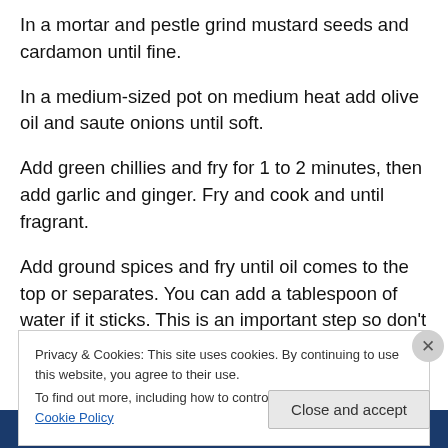In a mortar and pestle grind mustard seeds and cardamon until fine.
In a medium-sized pot on medium heat add olive oil and saute onions until soft.
Add green chillies and fry for 1 to 2 minutes, then add garlic and ginger. Fry and cook and until fragrant.
Add ground spices and fry until oil comes to the top or separates. You can add a tablespoon of water if it sticks. This is an important step so don't rush it. Frying the spices
Privacy & Cookies: This site uses cookies. By continuing to use this website, you agree to their use.
To find out more, including how to control cookies, see here: Cookie Policy
Close and accept